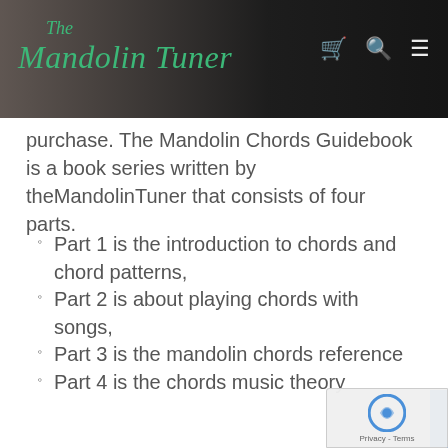The Mandolin Tuner
purchase. The Mandolin Chords Guidebook is a book series written by theMandolinTuner that consists of four parts.
Part 1 is the introduction to chords and chord patterns,
Part 2 is about playing chords with songs,
Part 3 is the mandolin chords reference
Part 4 is the chords music theory
This is Part 2 and is to be used to learn how to play mandolin